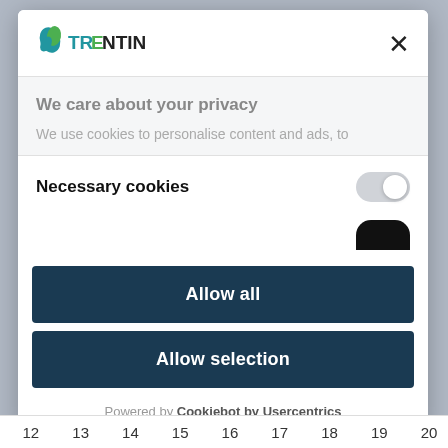[Figure (logo): Trentino logo with stylized bird/leaf icon and text TRENTINO in teal and dark colors]
×
We care about your privacy
We use cookies to personalise content and ads, to
Necessary cookies
[Figure (illustration): Toggle switch in off/grey state]
[Figure (illustration): Partial dark toggle arc visible at bottom]
Allow all
Allow selection
Powered by Cookiebot by Usercentrics
12  13  14  15  16  17  18  19  20